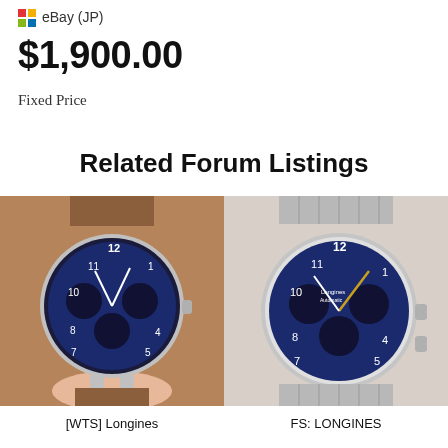eBay (JP)
$1,900.00
Fixed Price
Related Forum Listings
[Figure (photo): A Longines chronograph watch with blue dial and brown leather strap, held in hand]
[Figure (photo): A Longines chronograph watch with blue dial and metal bracelet, placed on a surface]
[WTS] Longines
FS: LONGINES